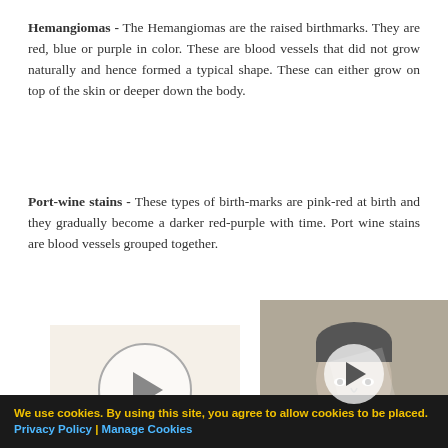Hemangiomas - The Hemangiomas are the raised birthmarks. They are red, blue or purple in color. These are blood vessels that did not grow naturally and hence formed a typical shape. These can either grow on top of the skin or deeper down the body.
Port-wine stains - These types of birth-marks are pink-red at birth and they gradually become a darker red-purple with time. Port wine stains are blood vessels grouped together.
[Figure (other): Video player placeholder with circular play button on light beige background]
[Figure (other): Floating video overlay showing a black and white portrait of a man with a play button overlay]
We use cookies. By using this site, you agree to allow cookies to be placed. Privacy Policy | Manage Cookies